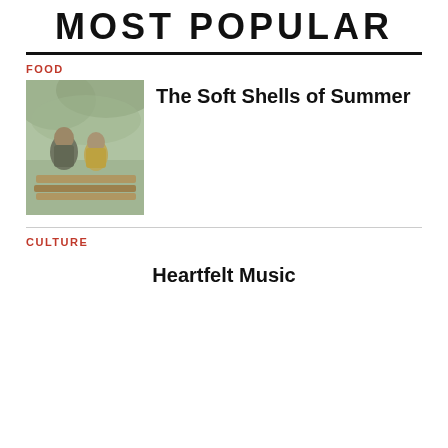MOST POPULAR
FOOD
[Figure (illustration): Impressionist-style painting of two figures in a boat, muted green and brown tones]
The Soft Shells of Summer
CULTURE
Heartfelt Music